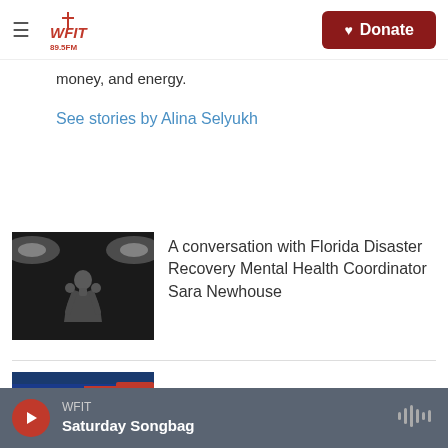WFIT 89.5FM — Donate
money, and energy.
See stories by Alina Selyukh
[Figure (photo): Black and white photo of a person holding something, with stage lights in the background]
A conversation with Florida Disaster Recovery Mental Health Coordinator Sara Newhouse
[Figure (photo): Hurricane Danielle news banner thumbnail]
Tropical Weather
WFIT — Saturday Songbag